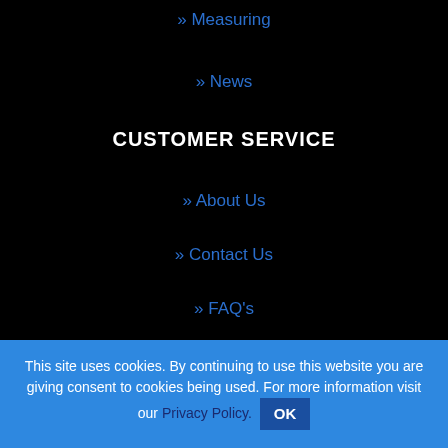» Measuring
» News
CUSTOMER SERVICE
» About Us
» Contact Us
» FAQ's
» Privacy Policy
» Shipping & Returns
This site uses cookies. By continuing to use this website you are giving consent to cookies being used. For more information visit our Privacy Policy. OK